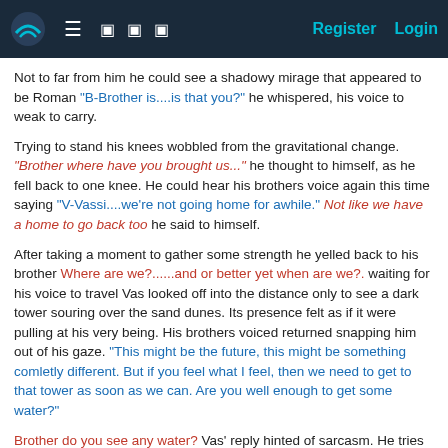[Navigation bar with logo, menu icons, Register, Login]
Not to far from him he could see a shadowy mirage that appeared to be Roman "B-Brother is....is that you?" he whispered, his voice to weak to carry.
Trying to stand his knees wobbled from the gravitational change. "Brother where have you brought us..." he thought to himself, as he fell back to one knee. He could hear his brothers voice again this time saying "V-Vassi....we're not going home for awhile." Not like we have a home to go back too he said to himself.
After taking a moment to gather some strength he yelled back to his brother Where are we?......and or better yet when are we?. waiting for his voice to travel Vas looked off into the distance only to see a dark tower souring over the sand dunes. Its presence felt as if it were pulling at his very being. His brothers voiced returned snapping him out of his gaze. "This might be the future, this might be something comletly different. But if you feel what I feel, then we need to get to that tower as soon as we can. Are you well enough to get some water?"
Brother do you see any water? Vas' reply hinted of sarcasm. He tries once again to regain his composure, this time managing to on stand on both feet.